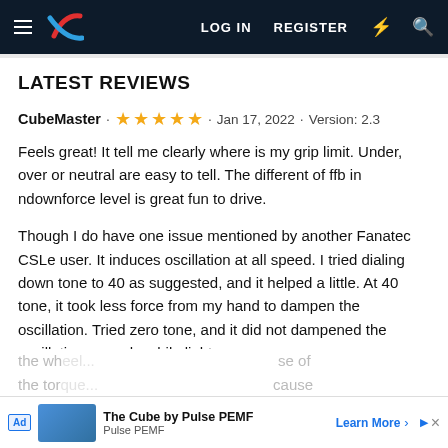Navigation bar with hamburger menu, LR logo, LOG IN, REGISTER, and icon buttons
LATEST REVIEWS
CubeMaster · ★★★★★ · Jan 17, 2022 · Version: 2.3
Feels great! It tell me clearly where is my grip limit. Under, over or neutral are easy to tell. The different of ffb in ndownforce level is great fun to drive.
Though I do have one issue mentioned by another Fanatec CSLe user. It induces oscillation at all speed. I tried dialing down tone to 40 as suggested, and it helped a little. At 40 tone, it took less force from my hand to dampen the oscillation. Tried zero tone, and it did not dampened the oscillation enough, while lighten the wh... ...se of the tor... ...cause
[Figure (other): Advertisement banner: The Cube by Pulse PEMF, Pulse PEMF, Learn More button]